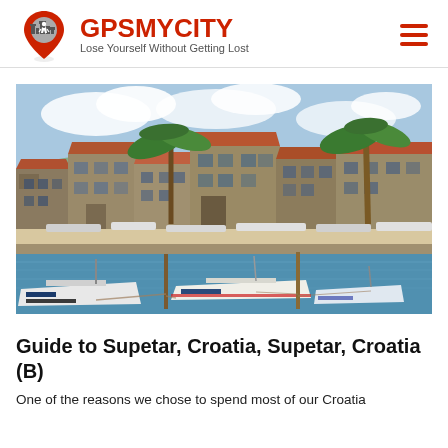GPSMYCITY — Lose Yourself Without Getting Lost
[Figure (photo): Waterfront view of Supetar, Croatia, showing stone buildings with red-tiled roofs, palm trees, boats moored in the harbour, restaurant terraces with white umbrellas along the quay, and a blue sky with clouds.]
Guide to Supetar, Croatia, Supetar, Croatia (B)
One of the reasons we chose to spend most of our Croatia